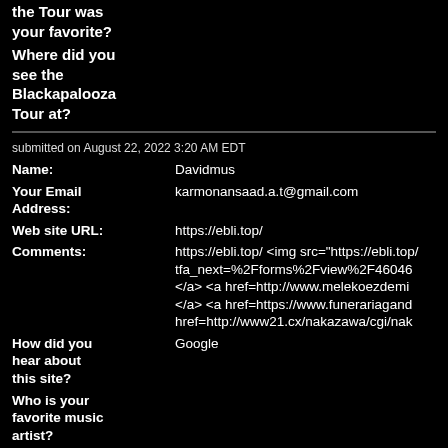the Tour was your favorite?
Where did you see the Blackapalooza Tour at?
submitted on August 22, 2022 3:20 AM EDT
| Field | Value |
| --- | --- |
| Name: | Davidmus |
| Your Email Address: | karmonansaad.a.t@gmail.com |
| Web site URL: | https://ebli.top/ |
| Comments: | https://ebli.top/ <img src="https://ebli.top/ tfa_next=%2Fforms%2Fview%2F46046 </a> <a href=http://www.melekoezdemi </a> <a href=https://www.funerariagand href=http://www21.cx/nakazawa/cgi/nak |
| How did you hear about this site? | Google |
| Who is your favorite music artist? |  |
| What Band on the Tour was your favorite? |  |
| Where did you see the |  |